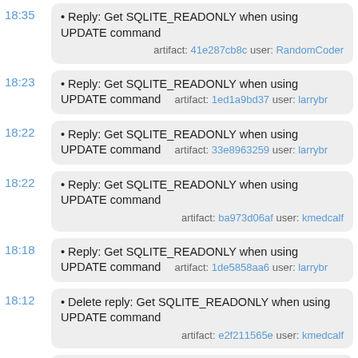18:35 • Reply: Get SQLITE_READONLY when using UPDATE command artifact: 41e287cb8c user: RandomCoder
18:23 • Reply: Get SQLITE_READONLY when using UPDATE command artifact: 1ed1a9bd37 user: larrybr
18:22 • Reply: Get SQLITE_READONLY when using UPDATE command artifact: 33e8963259 user: larrybr
18:22 • Reply: Get SQLITE_READONLY when using UPDATE command artifact: ba973d06af user: kmedcalf
18:18 • Reply: Get SQLITE_READONLY when using UPDATE command artifact: 1de5858aa6 user: larrybr
18:12 • Delete reply: Get SQLITE_READONLY when using UPDATE command artifact: e2f211565e user: kmedcalf
18:02 • Reply: Get SQLITE_READONLY when using